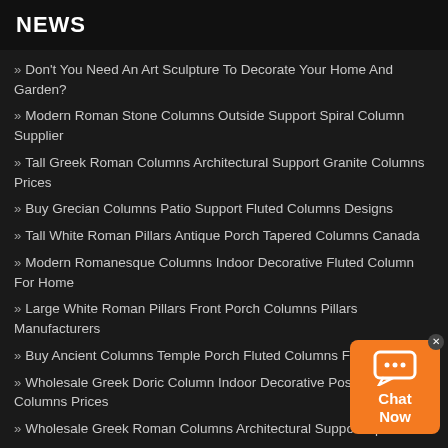NEWS
Don't You Need An Art Sculpture To Decorate Your Home And Garden?
Modern Roman Stone Columns Outside Support Spiral Column Supplier
Tall Greek Roman Columns Architectural Support Granite Columns Prices
Buy Grecian Columns Patio Support Fluted Columns Designs
Tall White Roman Pillars Antique Porch Tapered Columns Canada
Modern Romanesque Columns Indoor Decorative Fluted Column For Home
Large White Roman Pillars Front Porch Columns Pillars Manufacturers
Buy Ancient Columns Temple Porch Fluted Columns For Sale
Wholesale Greek Doric Column Indoor Decorative Posts And Columns Prices
Wholesale Greek Roman Columns Architectural Support Spiral